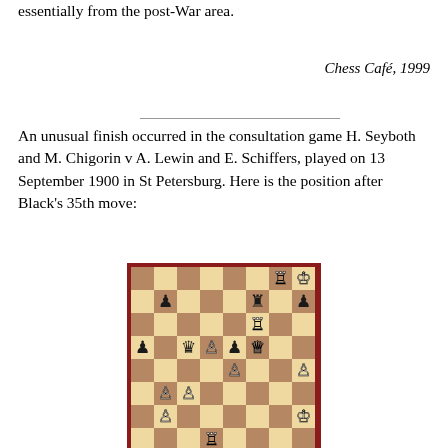essentially from the post-War area.
Chess Café, 1999
An unusual finish occurred in the consultation game H. Seyboth and M. Chigorin v A. Lewin and E. Schiffers, played on 13 September 1900 in St Petersburg. Here is the position after Black's 35th move:
[Figure (other): Chess board diagram showing position after Black's 35th move in the game H. Seyboth and M. Chigorin v A. Lewin and E. Schiffers, St Petersburg 1900.]